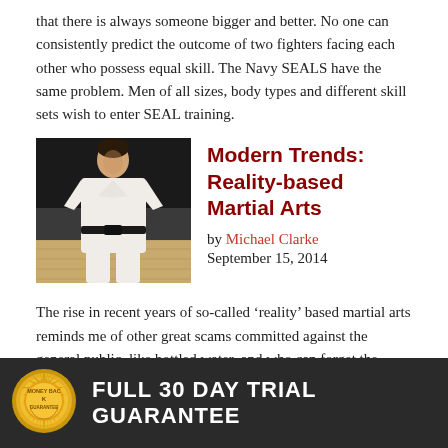that there is always someone bigger and better. No one can consistently predict the outcome of two fighters facing each other who possess equal skill. The Navy SEALS have the same problem. Men of all sizes, body types and different skill sets wish to enter SEAL training.
[Figure (photo): Person in white karate gi with black belt, standing on wooden floor]
Modern Trends: Reality-based Martial Arts
by Michael Clarke
September 15, 2014
The rise in recent years of so-called ‘reality’ based martial arts reminds me of other great scams committed against the general public, like bottled water, and who can forget the panic that gripped the world in the 1990s over the Y2K dilemma that was supposedly going to see aeroplanes fall from the sky and shut down every computer on the entire planet.
FULL 30 DAY TRIAL GUARANTEE